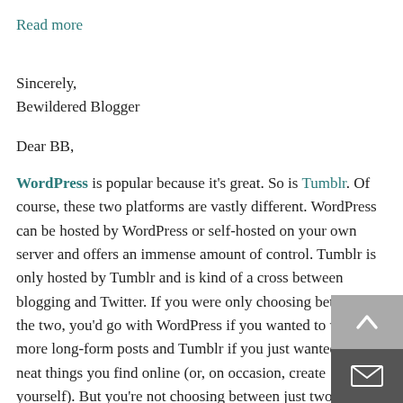Read more
Sincerely,
Bewildered Blogger
Dear BB,
WordPress is popular because it's great. So is Tumblr. Of course, these two platforms are vastly different. WordPress can be hosted by WordPress or self-hosted on your own server and offers an immense amount of control. Tumblr is only hosted by Tumblr and is kind of a cross between blogging and Twitter. If you were only choosing between the two, you'd go with WordPress if you wanted to write more long-form posts and Tumblr if you just wanted to post neat things you find online (or, on occasion, create yourself). But you're not choosing between just two platforms. You have a wide number of options that do
[Figure (other): Two floating action buttons in bottom-right corner: a grey scroll-to-top button with an upward chevron, and a dark grey email/envelope button below it.]